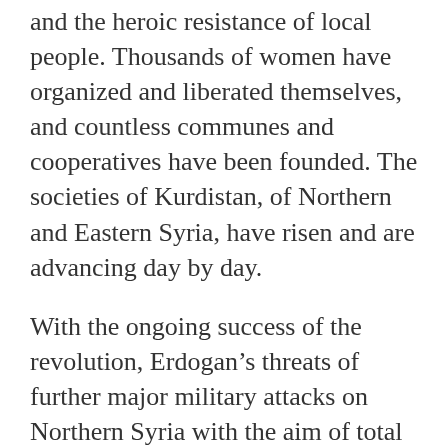and the heroic resistance of local people. Thousands of women have organized and liberated themselves, and countless communes and cooperatives have been founded. The societies of Kurdistan, of Northern and Eastern Syria, have risen and are advancing day by day.
With the ongoing success of the revolution, Erdogan’s threats of further major military attacks on Northern Syria with the aim of total annihilation of the revolution, are increasing.
Turkey is proclaiming its success in “containment” of the refugee crisis outside the borders of Europe, but more and more people are realizing the true face of this regime. In reality, until Turkish fascism is defeated, ISIS will continue to devastate and the revolution